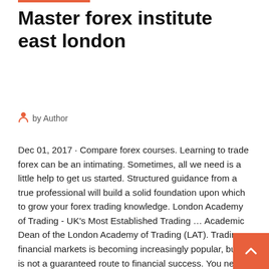Master forex institute east london
by Author
Dec 01, 2017 · Compare forex courses. Learning to trade forex can be an intimating. Sometimes, all we need is a little help to get us started. Structured guidance from a true professional will build a solid foundation upon which to grow your forex trading knowledge. London Academy of Trading - UK's Most Established Trading ... Academic Dean of the London Academy of Trading (LAT). Trading financial markets is becoming increasingly popular, but it is not a guaranteed route to financial success. You need to spend the time to learn the skills and knowledge required to trade successfully.
Master One Forex Trading Strategy at a Time - If you really want to excel at Forex trading and adopt a fresh new trading strategy, you need to focus on one strategy or way of thinking